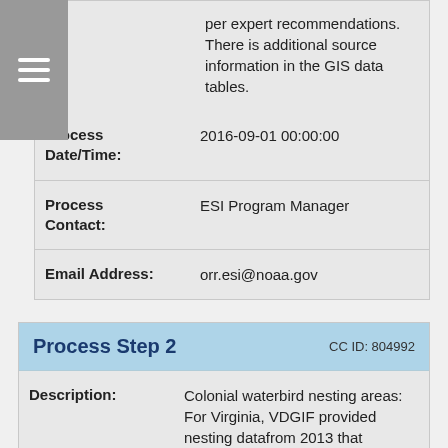[Figure (other): Hamburger menu icon button (three horizontal lines) on gray background]
per expert recommendations. There is additional source information in the GIS data tables.
| Field | Value |
| --- | --- |
| Process Date/Time: | 2016-09-01 00:00:00 |
| Process Contact: | ESI Program Manager |
| Email Address: | orr.esi@noaa.gov |
Process Step 2   CC ID: 804992
| Field | Value |
| --- | --- |
| Description: | Colonial waterbird nesting areas: For Virginia, VDGIF provided nesting datafrom 2013 that originated from various partner organizations including CCB, VDGIF, TNC, VA DCR, USFWS, USGS, and College of William and |